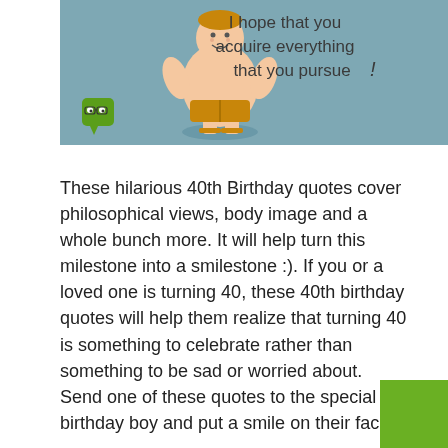[Figure (illustration): A humorous birthday card illustration on a blue-grey background showing a fat cartoon man in underwear and sandals, with a small green money bag character in the bottom-left corner. Text on the right reads: 'I hope that you acquire everything that you pursue!']
These hilarious 40th Birthday quotes cover philosophical views, body image and a whole bunch more. It will help turn this milestone into a smilestone :). If you or a loved one is turning 40, these 40th birthday quotes will help them realize that turning 40 is something to celebrate rather than something to be sad or worried about. Send one of these quotes to the special birthday boy and put a smile on their face!